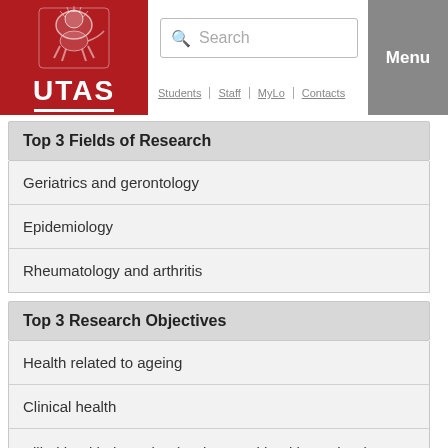[Figure (screenshot): UTAS (University of Tasmania) website header with red logo box containing lion crest and UTAS text, search bar, and Menu button]
Students | Staff | MyLo | Contacts
Top 3 Fields of Research
Geriatrics and gerontology
Epidemiology
Rheumatology and arthritis
Top 3 Research Objectives
Health related to ageing
Clinical health
Allied health therapies (excl. mental health services)
Fields of Research